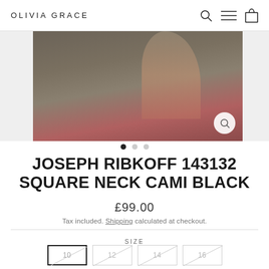OLIVIA GRACE
[Figure (photo): Product photo of a person wearing a dark olive/charcoal square neck cami top with a burgundy/mauve skirt. Image shows torso area. Has a zoom icon in bottom right corner. Image is flanked by grey side panels. Three navigation dots below: first dot filled/active, second and third grey.]
JOSEPH RIBKOFF 143132 SQUARE NECK CAMI BLACK
£99.00
Tax included. Shipping calculated at checkout.
SIZE
10  12  14  16